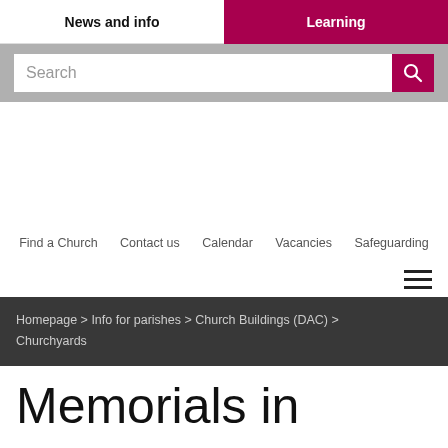News and info | Learning
[Figure (screenshot): Search bar with magnifying glass icon on grey background]
Find a Church   Contact us   Calendar   Vacancies   Safeguarding
[Figure (other): Hamburger menu icon (three horizontal lines)]
Homepage > Info for parishes > Church Buildings (DAC) > Churchyards
Memorials in